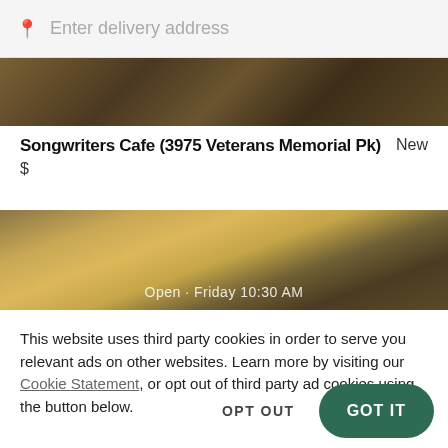Enter delivery address
[Figure (photo): Food image strip at top of restaurant listing page]
Songwriters Cafe (3975 Veterans Memorial Pk)
New
$
[Figure (photo): Food image strip showing biscuits or pastries, partially overlaid with text: Open Friday 10:30 AM]
This website uses third party cookies in order to serve you relevant ads on other websites. Learn more by visiting our Cookie Statement, or opt out of third party ad cookies using the button below.
OPT OUT
GOT IT